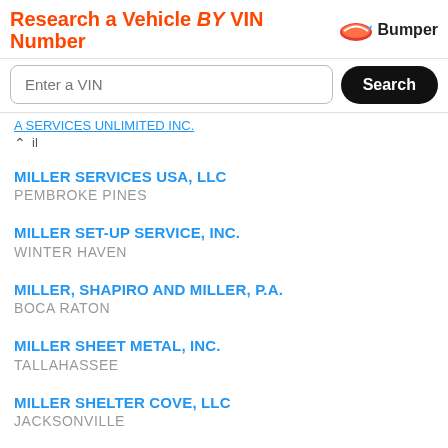[Figure (screenshot): Bumper advertisement banner: 'Research a Vehicle BY VIN Number' with Bumper logo and VIN search input field with Search button]
A SERVICES UNLIMITED INC. (partial, link)
MILLER SERVICES USA, LLC
PEMBROKE PINES
MILLER SET-UP SERVICE, INC.
WINTER HAVEN
MILLER, SHAPIRO AND MILLER, P.A.
BOCA RATON
MILLER SHEET METAL, INC.
TALLAHASSEE
MILLER SHELTER COVE, LLC
JACKSONVILLE
MILLER-SHERRITT CONSTRUCTION CO